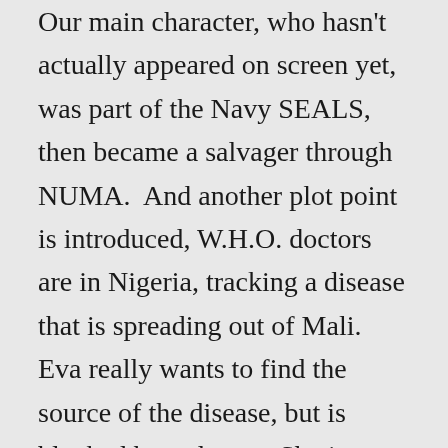Our main character, who hasn't actually appeared on screen yet, was part of the Navy SEALS, then became a salvager through NUMA. And another plot point is introduced, W.H.O. doctors are in Nigeria, tracking a disease that is spreading out of Mali. Eva really wants to find the source of the disease, but is blocked by red tape. She is attacked while tracking down a patient and rescued by a diver in the water; Dirk. She wakes up aboard a ship and is briefly introduced to Al Giordino, Admiral Sandecker, and Rudi before Dirk makes another appearance, bringing up salvage from the ocean. NUMA is presenting the sarcophagus at the museum that evening